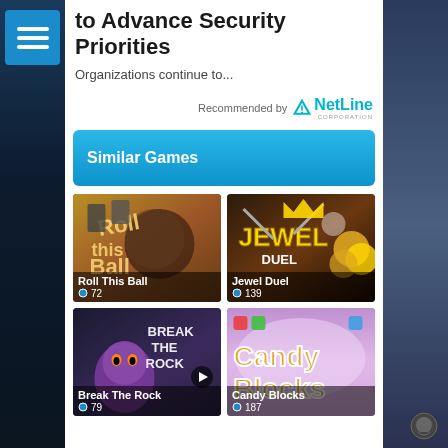to Advance Security Priorities
Organizations continue to...
[Figure (logo): Recommended by NetLine Corporation logo]
Similar Games
[Figure (photo): Roll This Ball game thumbnail with ball and wood puzzle graphic]
Roll This Ball
72
[Figure (photo): Jewel Duel game thumbnail with jewel logo and coins]
Jewel Duel
139
[Figure (photo): Break The Rock game thumbnail with purple character]
Break The Rock
79
[Figure (photo): Candy Blocks game thumbnail with colorful candy blocks logo]
Candy Blocks
187